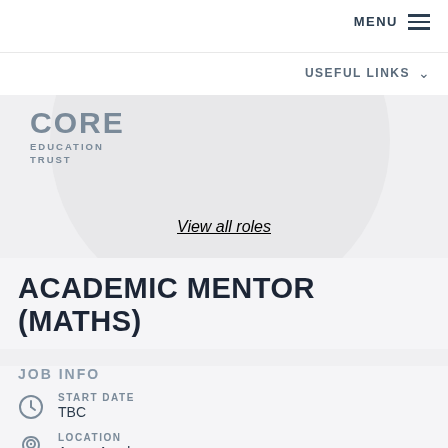MENU
USEFUL LINKS
[Figure (logo): Core Education Trust logo — CORE in large grey letters, EDUCATION TRUST in smaller grey letters below]
View all roles
ACADEMIC MENTOR (MATHS)
JOB INFO
START DATE
TBC
LOCATION
Arena Academy